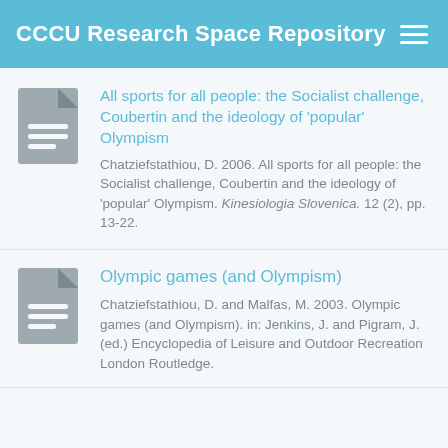CCCU Research Space Repository
All sports for all people: the Socialist challenge, Coubertin and the ideology of 'popular' Olympism
Chatziefstathiou, D. 2006. All sports for all people: the Socialist challenge, Coubertin and the ideology of 'popular' Olympism. Kinesiologia Slovenica. 12 (2), pp. 13-22.
Olympic games (and Olympism)
Chatziefstathiou, D. and Malfas, M. 2003. Olympic games (and Olympism). in: Jenkins, J. and Pigram, J. (ed.) Encyclopedia of Leisure and Outdoor Recreation London Routledge.